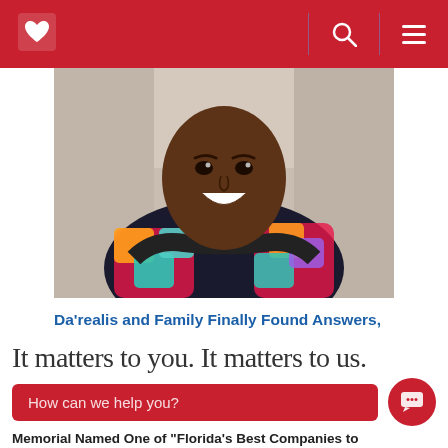Memorial Healthcare System
[Figure (photo): A smiling young person wearing a colorful patterned jacket, photographed from the shoulders up in a bright indoor setting.]
Da'realis and Family Finally Found Answers, Deep Caring and Hope
It matters to you. It matters to us.
How can we help you?
Memorial Named One of "Florida's Best Companies to